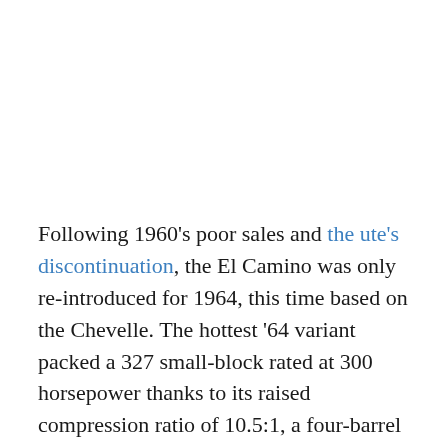Following 1960's poor sales and the ute's discontinuation, the El Camino was only re-introduced for 1964, this time based on the Chevelle. The hottest '64 variant packed a 327 small-block rated at 300 horsepower thanks to its raised compression ratio of 10.5:1, a four-barrel carburetor and dual exhausts.
Unfortunately for GM, 1964 became the year of the Ford Mustang, which meant they once again had to come up with a counter-attack, the pony known as the 1967 Camaro. On the side, the El Camino kept rolling until 1988 with the final evolution being the GMC Caballero, while GM's latest concept around this subject was 2010's Pontiac G8 ST, based on Australia's